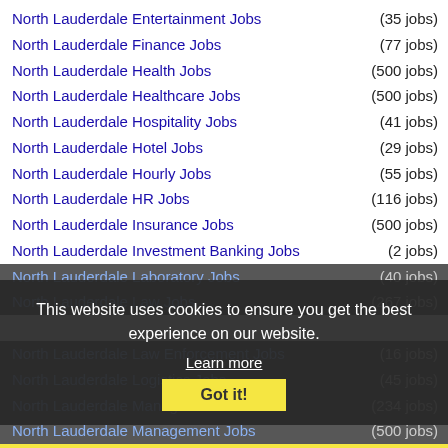North Lauderdale Entertainment Jobs (35 jobs)
North Lauderdale Finance Jobs (77 jobs)
North Lauderdale Health Jobs (500 jobs)
North Lauderdale Healthcare Jobs (500 jobs)
North Lauderdale Hospitality Jobs (41 jobs)
North Lauderdale Hotel Jobs (29 jobs)
North Lauderdale Hourly Jobs (55 jobs)
North Lauderdale HR Jobs (116 jobs)
North Lauderdale Insurance Jobs (500 jobs)
North Lauderdale Investment Banking Jobs (2 jobs)
North Lauderdale Laboratory Jobs (40 jobs)
North Lauderdale Law Jobs (267 jobs)
North Lauderdale Law Enforcement Jobs (16 jobs)
North Lauderdale Logistics Jobs (45 jobs)
North Lauderdale M... Jobs (234 jobs)
North Lauderdale Management Jobs (500 jobs)
North Lauderdale Manufacturing Jobs (28 jobs)
North Lauderdale Marketing Jobs (142 jobs)
North Lauderdale Medical Jobs (500 jobs)
North Lauderdale Medical Tech Jobs (39 jobs)
This website uses cookies to ensure you get the best experience on our website. Learn more Got it!